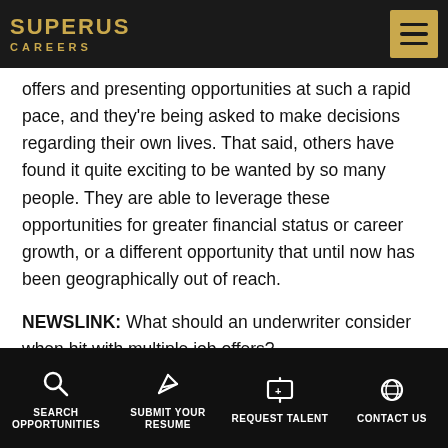SUPERUS CAREERS
offers and presenting opportunities at such a rapid pace, and they're being asked to make decisions regarding their own lives. That said, others have found it quite exciting to be wanted by so many people. They are able to leverage these opportunities for greater financial status or career growth, or a different opportunity that until now has been geographically out of reach.
NEWSLINK: What should an underwriter consider when hit with multiple job offers?
SILVER: For one, they should approach the job search
SEARCH OPPORTUNITIES  SUBMIT YOUR RESUME  REQUEST TALENT  CONTACT US